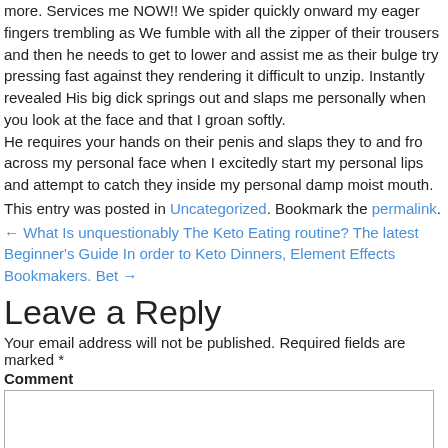more. Services me NOW!! We spider quickly onward my eager fingers trembling as We fumble with all the zipper of their trousers and then he needs to get to lower and assist me as their bulge try pressing fast against they rendering it difficult to unzip. Instantly revealed His big dick springs out and slaps me personally when you look at the face and that I groan softly.
He requires your hands on their penis and slaps they to and fro across my personal face when I excitedly start my personal lips and attempt to catch they inside my personal damp moist mouth.
This entry was posted in Uncategorized. Bookmark the permalink.
← What Is unquestionably The Keto Eating routine? The latest Beginner's Guide In order to Keto Dinners, Element Effects Bookmakers. Bet →
Leave a Reply
Your email address will not be published. Required fields are marked *
Comment